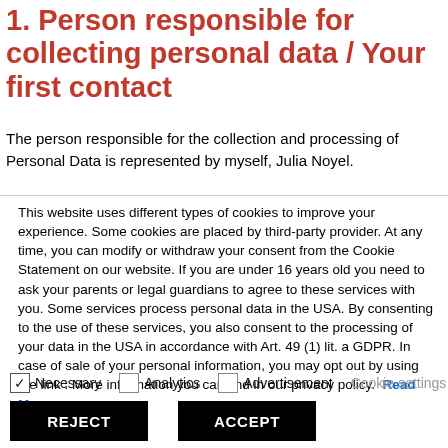1. Person responsible for collecting personal data / Your first contact
The person responsible for the collection and processing of Personal Data is represented by myself, Julia Noyel.
This website uses different types of cookies to improve your experience. Some cookies are placed by third-party provider. At any time, you can modify or withdraw your consent from the Cookie Statement on our website. If you are under 16 years old you need to ask your parents or legal guardians to agree to these services with you. Some services process personal data in the USA. By consenting to the use of these services, you also consent to the processing of your data in the USA in accordance with Art. 49 (1) lit. a GDPR. In case of sale of your personal information, you may opt out by using the link . More information you can find in our privacy policy. Read More